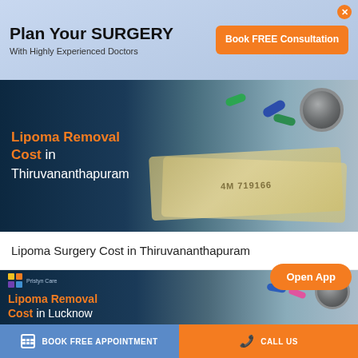Plan Your SURGERY
With Highly Experienced Doctors
Book FREE Consultation
[Figure (photo): Banner image showing Indian currency notes, colorful capsules/pills, and a stethoscope with overlay text: Lipoma Removal Cost in Thiruvananthapuram]
Lipoma Surgery Cost in Thiruvananthapuram
Open App
[Figure (photo): Second banner card with Pristyn Care logo, showing pills/capsules/stethoscope on currency notes with overlay text: Lipoma Removal Cost in Lucknow]
BOOK FREE APPOINTMENT
CALL US